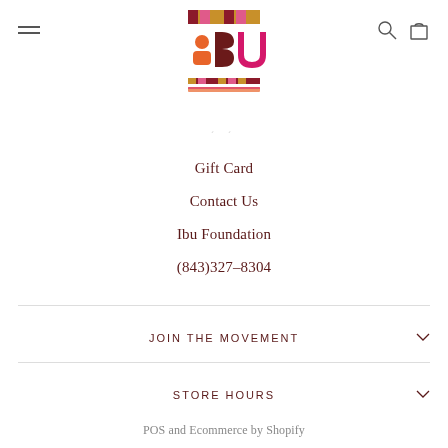[Figure (logo): IBU logo with colorful geometric shapes in orange, pink, brown and magenta with decorative striped bands above and below]
Gift Card
Contact Us
Ibu Foundation
(843)327-8304
JOIN THE MOVEMENT
STORE HOURS
POS and Ecommerce by Shopify